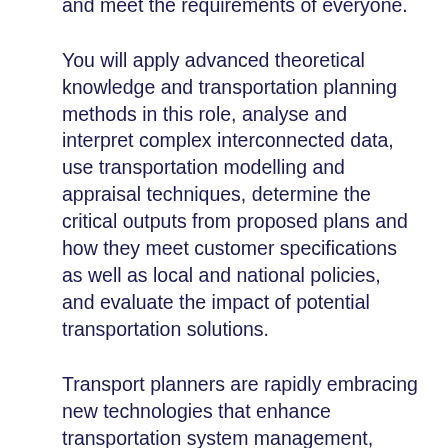transportation and travel systems that are safe to use, ecologically sustainable, and meet the requirements of everyone.
You will apply advanced theoretical knowledge and transportation planning methods in this role, analyse and interpret complex interconnected data, use transportation modelling and appraisal techniques, determine the critical outputs from proposed plans and how they meet customer specifications as well as local and national policies, and evaluate the impact of potential transportation solutions.
Transport planners are rapidly embracing new technologies that enhance transportation system management, allowing them to produce more accurate predictions, enabling intelligent mobility, and modifying people's attitudes about travel.
You will connect transportation on a local and global scale, impacting the future of towns and